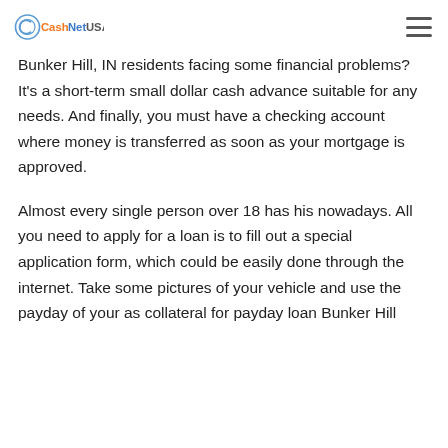CashNetUSA
Bunker Hill, IN residents facing some financial problems? It’s a short-term small dollar cash advance suitable for any needs. And finally, you must have a checking account where money is transferred as soon as your mortgage is approved.
Almost every single person over 18 has his nowadays. All you need to apply for a loan is to fill out a special application form, which could be easily done through the internet. Take some pictures of your vehicle and use the payday of your as collateral for payday loan Bunker Hill